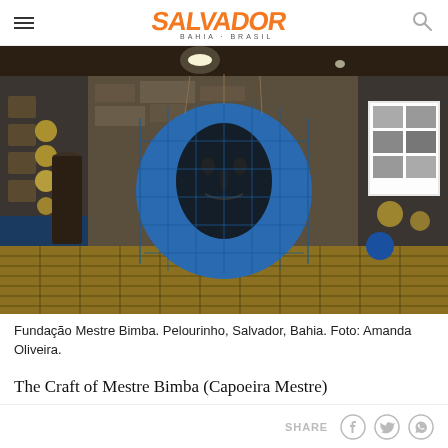SALVADOR BAHIA · BRASIL
[Figure (photo): Interior of Fundação Mestre Bimba in Pelourinho, Salvador, Bahia. A stone wall room with a large circular blue mural of a face (capoeira master), surrounded by drums and instruments hung on the wall. Yellow tiled floor, a blue ball and a white banner on the right side.]
Fundação Mestre Bimba. Pelourinho, Salvador, Bahia. Foto: Amanda Oliveira.
The Craft of Mestre Bimba (Capoeira Mestre)
SHARE